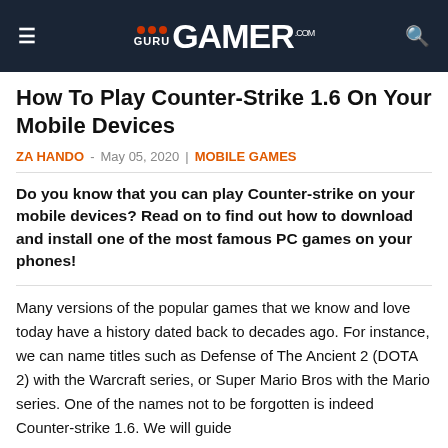GuruGamer.com
How To Play Counter-Strike 1.6 On Your Mobile Devices
ZA HANDO - May 05, 2020 | MOBILE GAMES
Do you know that you can play Counter-strike on your mobile devices? Read on to find out how to download and install one of the most famous PC games on your phones!
Many versions of the popular games that we know and love today have a history dated back to decades ago. For instance, we can name titles such as Defense of The Ancient 2 (DOTA 2) with the Warcraft series, or Super Mario Bros with the Mario series. One of the names not to be forgotten is indeed Counter-strike 1.6. We will guide